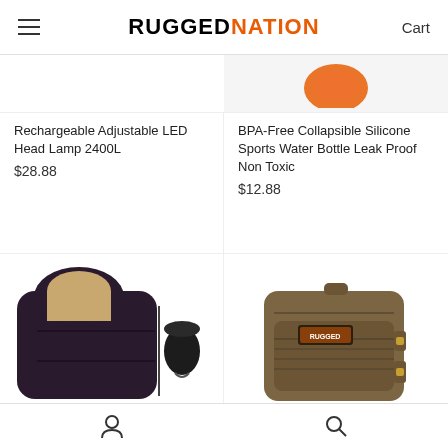RUGGED NATION — Cart
[Figure (photo): Partial product image showing orange element at top of page]
Rechargeable Adjustable LED Head Lamp 2400L
$28.88
BPA-Free Collapsible Silicone Sports Water Bottle Leak Proof Non Toxic
$12.88
[Figure (photo): Black sleeping bag unrolled with tan lining, and black compression sack beside it]
[Figure (photo): Tan/olive tactical backpack with MOLLE webbing and Rugged Nation logo patch]
RNX Ultralight 3 Season Water
Rugged Nation 3 Day
User icon | Search icon